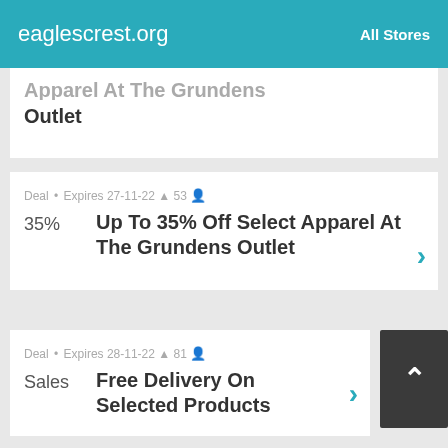eaglescrest.org    All Stores
Apparel At The Grundens Outlet
Deal • Expires 27-11-22 🔔 53 👤
35%   Up To 35% Off Select Apparel At The Grundens Outlet
Deal • Expires 28-11-22 🔔 81 👤
Sales   Free Delivery On Selected Products